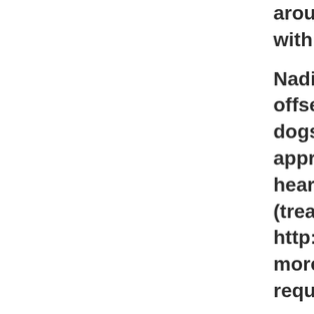around the ho with her toys).

Nadine's adop offseting our h dogs. Adoptio appropriate va heartworm pre (treated if pos http://heartlan more informat requirements,

ADOPTING A S give, and bring offer them a re calmer, more r are just as fun an excellent ch looking for a lo